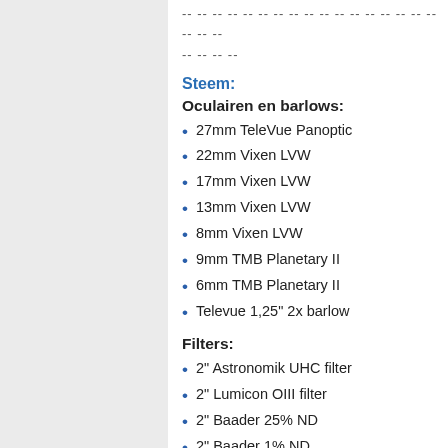-- -- -- -- -- -- -- -- -- -- -- -- -- -- -- -- -- -- -- -- -- -- -- -- -- -- --
-- -- -- --
Steem:
Oculairen en barlows:
27mm TeleVue Panoptic
22mm Vixen LVW
17mm Vixen LVW
13mm Vixen LVW
8mm Vixen LVW
9mm TMB Planetary II
6mm TMB Planetary II
Televue 1,25" 2x barlow
Filters:
2" Astronomik UHC filter
2" Lumicon OIII filter
2" Baader 25% ND
2" Baader 1% ND
Fotografie: